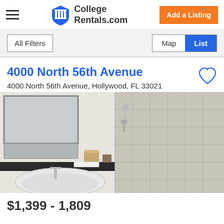College Rentals.com | Add a Listing
All Filters | Map | List
4000 North 56th Avenue
4000 North 56th Avenue, Hollywood, FL 33021
[Figure (photo): Bathroom interior with sink, dark countertop, mirror, and tiled shower area]
$1,399 - 1,809